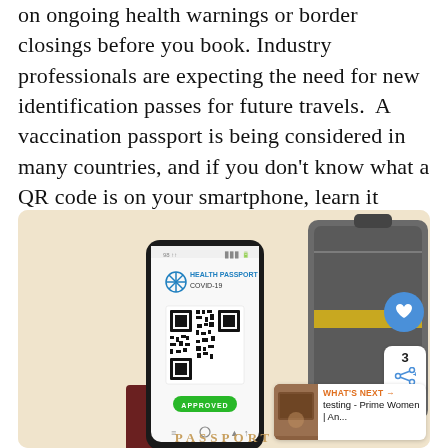on ongoing health warnings or border closings before you book. Industry professionals are expecting the need for new identification passes for future travels. A vaccination passport is being considered in many countries, and if you don't know what a QR code is on your smartphone, learn it (more about this in the next section).
[Figure (photo): A hand holding a smartphone displaying a Health Passport COVID-19 app with a QR code and 'APPROVED' button in green, placed on top of a passport. A suitcase is visible in the background. UI overlays show a like button (heart icon), share count of 3, share icon, and a 'WHAT'S NEXT' preview panel showing 'testing - Prime Women | An...' The word PASSPORT is visible at the bottom.]